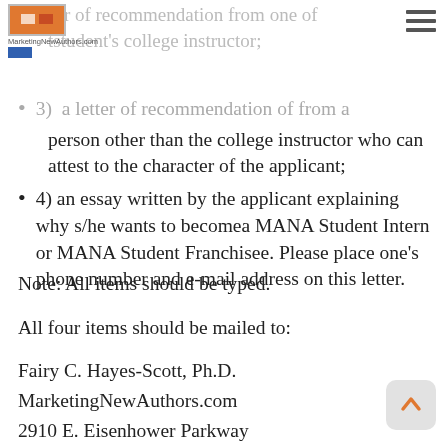MarketingNewAuthors.com
a letter of recommendation from one of the student's college instructor;
3)  a letter of recommendation of from a person other than the college instructor who can attest to the character of the applicant;
4) an essay written by the applicant explaining why s/he wants to becomea MANA Student Intern or MANA Student Franchisee. Please place one's phone number and e-mail address on this letter.
Note: All items should be typed.
All four items should be mailed to:
Fairy C. Hayes-Scott, Ph.D.
MarketingNewAuthors.com
2910 E. Eisenhower Parkway
Ann Arbor, MI 48108